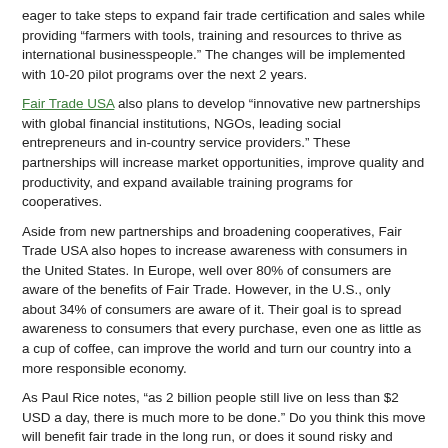eager to take steps to expand fair trade certification and sales while providing “farmers with tools, training and resources to thrive as international businesspeople.” The changes will be implemented with 10-20 pilot programs over the next 2 years.
Fair Trade USA also plans to develop “innovative new partnerships with global financial institutions, NGOs, leading social entrepreneurs and in-country service providers.” These partnerships will increase market opportunities, improve quality and productivity, and expand available training programs for cooperatives.
Aside from new partnerships and broadening cooperatives, Fair Trade USA also hopes to increase awareness with consumers in the United States. In Europe, well over 80% of consumers are aware of the benefits of Fair Trade. However, in the U.S., only about 34% of consumers are aware of it. Their goal is to spread awareness to consumers that every purchase, even one as little as a cup of coffee, can improve the world and turn our country into a more responsible economy.
As Paul Rice notes, “as 2 billion people still live on less than $2 USD a day, there is much more to be done.” Do you think this move will benefit fair trade in the long run, or does it sound risky and damaging?